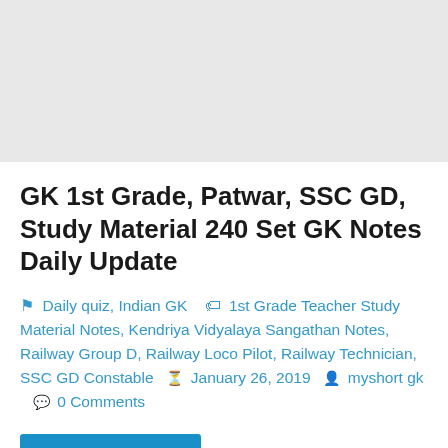GK 1st Grade, Patwar, SSC GD, Study Material 240 Set GK Notes Daily Update
Daily quiz, Indian GK  ⚑  1st Grade Teacher Study Material Notes, Kendriya Vidyalaya Sangathan Notes, Railway Group D, Railway Loco Pilot, Railway Technician, SSC GD Constable  ©  January 26, 2019  👤  myshort gk  💬  0 Comments
भारतीय इतिहास